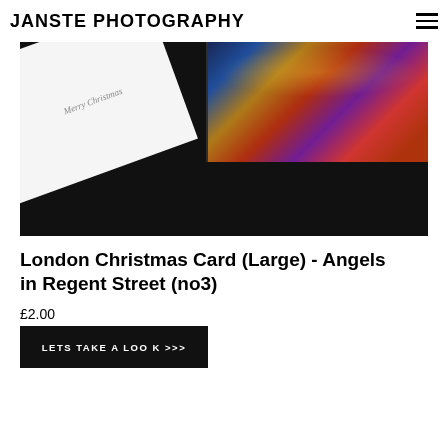JANSTE PHOTOGRAPHY
[Figure (photo): A Christmas card reading 'Merry Christmas' lying on a dark surface next to a colorful London street scene photograph/postcard showing a red bus and illuminated street.]
London Christmas Card (Large) - Angels in Regent Street (no3)
£2.00
LETS TAKE A LOO K >>>